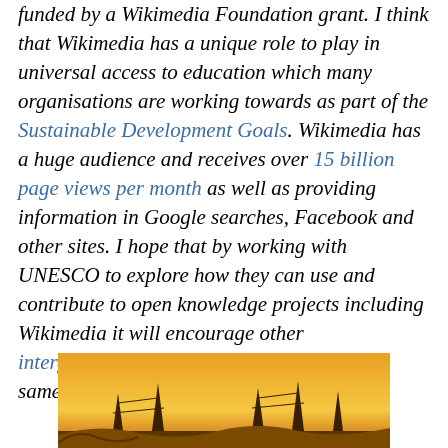funded by a Wikimedia Foundation grant. "I think that Wikimedia has a unique role to play in universal access to education which many organisations are working towards as part of the Sustainable Development Goals. Wikimedia has a huge audience and receives over 15 billion page views per month as well as providing information in Google searches, Facebook and other sites. I hope that by working with UNESCO to explore how they can use and contribute to open knowledge projects including Wikimedia it will encourage other intergovernmental organisations to do the same."
[Figure (photo): Photograph showing a sunset or orange sky with silhouettes of structures (possibly power lines or towers) at the bottom edge]